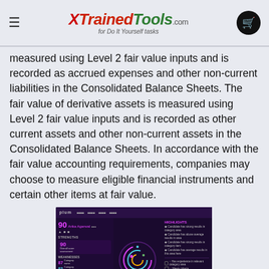XTrainedTools.com for Do It Yourself tasks
measured using Level 2 fair value inputs and is recorded as accrued expenses and other non-current liabilities in the Consolidated Balance Sheets. The fair value of derivative assets is measured using Level 2 fair value inputs and is recorded as other current assets and other non-current assets in the Consolidated Balance Sheets. In accordance with the fair value accounting requirements, companies may choose to measure eligible financial instruments and certain other items at fair value.
[Figure (screenshot): Screenshot of a Plum candidate assessment dashboard showing candidate Arika Agarwal with scores and highlights in a dark purple UI]